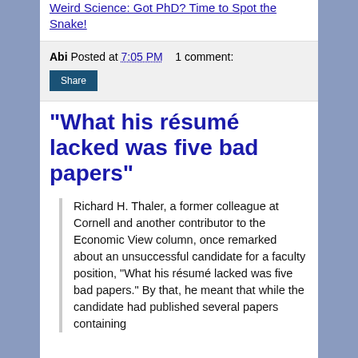Weird Science: Got PhD? Time to Spot the Snake!
Abi Posted at 7:05 PM    1 comment:
"What his résumé lacked was five bad papers"
Richard H. Thaler, a former colleague at Cornell and another contributor to the Economic View column, once remarked about an unsuccessful candidate for a faculty position, "What his résumé lacked was five bad papers." By that, he meant that while the candidate had published several papers containing